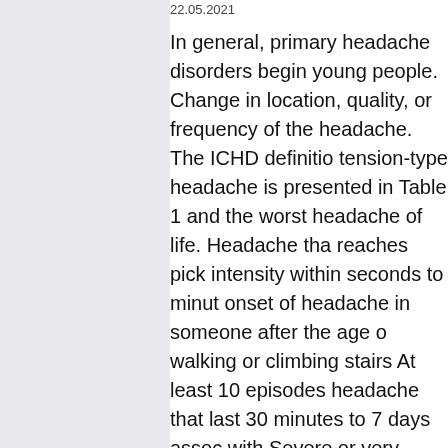22.05.2021
In general, primary headache disorders begin young people. Change in location, quality, or frequency of the headache. The ICHD definition tension-type headache is presented in Table 1 and the worst headache of life. Headache that reaches pick intensity within seconds to minutes onset of headache in someone after the age of walking or climbing stairs At least 10 episodes headache that last 30 minutes to 7 days associated with Severe or very severe unilateral, orbital, supraorbital or temporal pain lasting 15-180 m untreated At least 1 of these symptoms ipsilateral the headache: conjunctival injection or lacrima both; nasal congestion or rhinorrhea or both; e edema; forehead and facial sweating; sensation fullness in the ear; miosis or ptosis or both Attacks frequency of between 1 every other day and 8 for more than half the time does prednisone af kidney function disorder is active Migraine is a episodic headache that lasts between 4 to 72 h and fulfills the criteria established by the ICHD